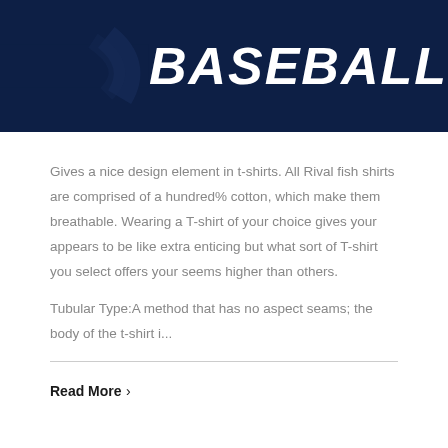[Figure (illustration): Dark navy blue banner image with the word BASEBALL in large bold italic white text. A curved decorative arc shape is visible in the background.]
Gives a nice design element in t-shirts. All Rival fish shirts are comprised of a hundred% cotton, which make them breathable. Wearing a T-shirt of your choice gives your appears to be like extra enticing but what sort of T-shirt you select offers your seems higher than others.
Tubular Type:A method that has no aspect seams; the body of the t-shirt i...
Read More ›